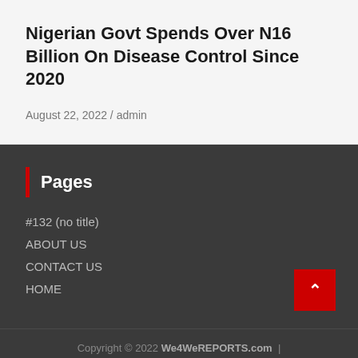Nigerian Govt Spends Over N16 Billion On Disease Control Since 2020
August 22, 2022 / admin
Pages
#132 (no title)
ABOUT US
CONTACT US
HOME
Copyright © 2022 We4WeREPORTS.com |